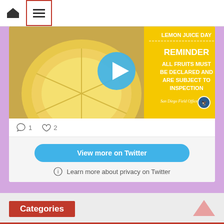[Figure (screenshot): Website navigation bar with home icon and hamburger menu icon (highlighted with red border)]
[Figure (screenshot): Embedded Twitter widget showing a lemon juice image with text 'LEMON JUICE DAY REMINDER ALL FRUITS MUST BE DECLARED AND ARE SUBJECT TO INSPECTION - San Diego Field Office' with a play button overlay, comment count 1 and like count 2]
[Figure (screenshot): View more on Twitter button and Learn more about privacy on Twitter link]
Categories